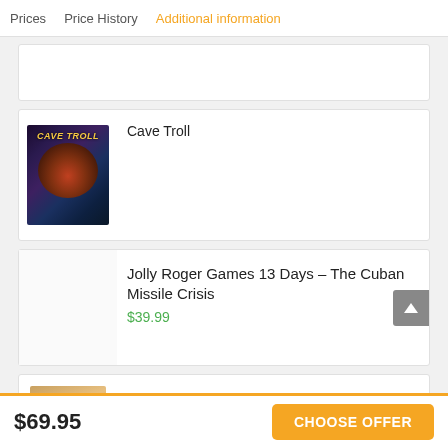Prices  Price History  Additional information
[Figure (screenshot): Cave Troll board game box cover — dark fantasy cave scene with troll]
Cave Troll
Jolly Roger Games 13 Days – The Cuban Missile Crisis
$39.99
[Figure (screenshot): Century Spice Road board game box cover — warm desert tones]
Century Spice Road
$35.60
$69.95
CHOOSE OFFER